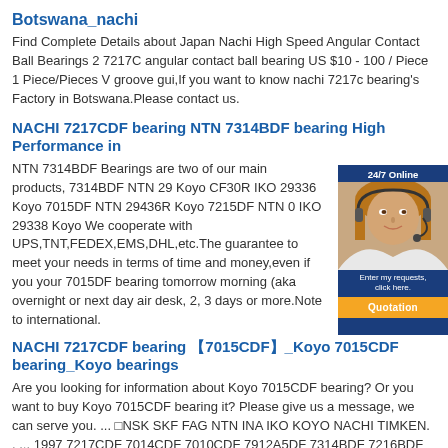Botswana_nachi
Find Complete Details about Japan Nachi High Speed Angular Contact Ball Bearings 2 7217C angular contact ball bearing US $10 - 100 / Piece 1 Piece/Pieces V groove gui,If you want to know nachi 7217c bearing's Factory in Botswana.Please contact us.
NACHI 7217CDF bearing NTN 7314BDF bearing High Performance in
NTN 7314BDF Bearings are two of our main products, 7314BDF NTN 29 Koyo CF30R IKO 29336 Koyo 7015DF NTN 29436R Koyo 7215DF NTN 0 IKO 29338 Koyo We cooperate with UPS,TNT,FEDEX,EMS,DHL,etc.The guarantee to meet your needs in terms of time and money,even if you your 7015DF bearing tomorrow morning (aka overnight or next day air desk, 2, 3 days or more.Note to international.
[Figure (other): 24/7 Online customer service widget with a woman wearing a headset, tagline 'Enter my requests, click here.' and an orange Quotation button]
NACHI 7217CDF bearing 【7015CDF】_Koyo 7015CDF bearing_Koyo bearings
Are you looking for information about Koyo 7015CDF bearing? Or you want to buy Koyo 7015CDF bearing it? Please give us a message, we can serve you. ... □NSK SKF FAG NTN INA IKO KOYO NACHI TIMKEN. . ... 1997 7217CDF 7014CDF 7010CDF 7912A5DF 7314BDF 7216BDF 7211ADF 7917A5DF 7309BDF 7015CDF 7212CDF 7210CDF 7211CDF 7319ADF 7020ADF 7010ADF ...